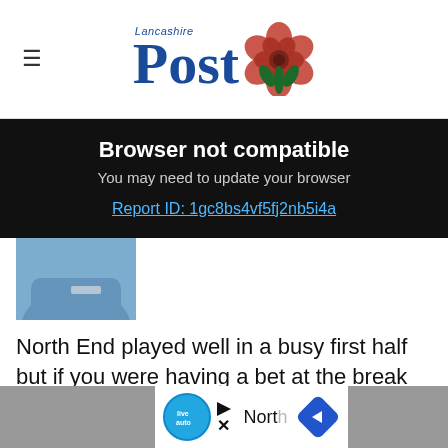Lancashire Post
Browser not compatible
You may need to update your browser
Report ID: 1gc8bs4vf5fj2nb5i4a
[Figure (photo): Partial photo of a person in a blue jacket with arms crossed]
North End played well in a busy first half but if you were having a bet at the break your money might just have been on Reading. However a second half performance of excellent counter-attacking and well organised defending saw North
[Figure (other): Advertisement bar at the bottom with a circular logo and navigation arrows]